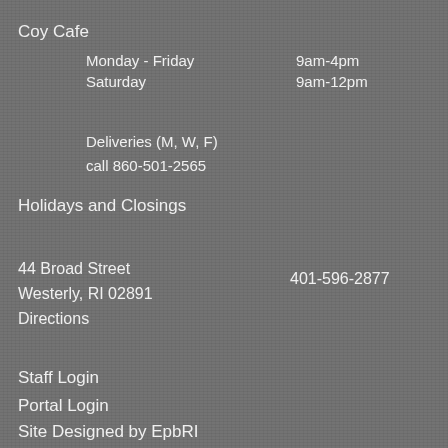Coy Cafe
Monday - Friday   9am-4pm
Saturday   9am-12pm
Deliveries (M, W, F)
call 860-501-2565
Holidays and Closings
44 Broad Street
Westerly, RI 02891
Directions
401-596-2877
Staff Login
Portal Login
Site Designed by EpbRI